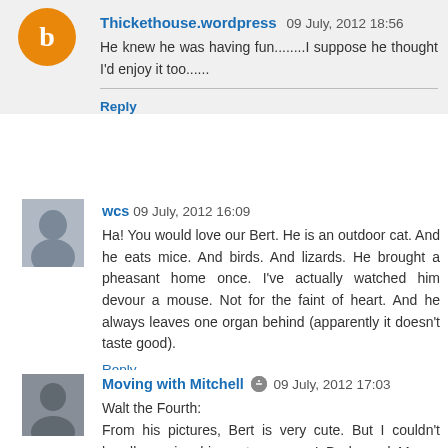Thickethouse.wordpress 09 July, 2012 18:56
He knew he was having fun........I suppose he thought I'd enjoy it too......
Reply
wcs 09 July, 2012 16:09
Ha! You would love our Bert. He is an outdoor cat. And he eats mice. And birds. And lizards. He brought a pheasant home once. I've actually watched him devour a mouse. Not for the faint of heart. And he always leaves one organ behind (apparently it doesn't taste good).
Reply
Moving with Mitchell 09 July, 2012 17:03
Walt the Fourth:
From his pictures, Bert is very cute. But I couldn't handle seeing him eat a mouse! Dudo and Moose would pretty